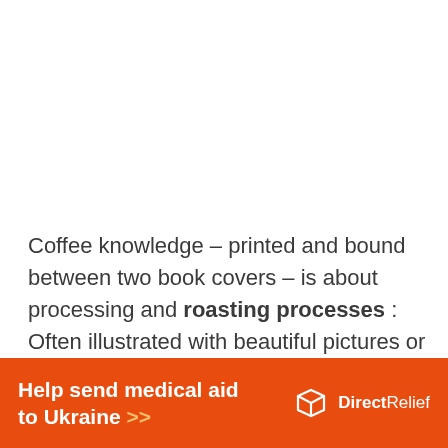Coffee knowledge – printed and bound between two book covers – is about processing and roasting processes : Often illustrated with beautiful pictures or graphics. Before the harvested cherry goes into the roasting process, which is crucial for the variety and quality, it is kind...
[Figure (infographic): Orange advertisement banner for DirectRelief: 'Help send medical aid to Ukraine >>' with DirectRelief logo on right side]